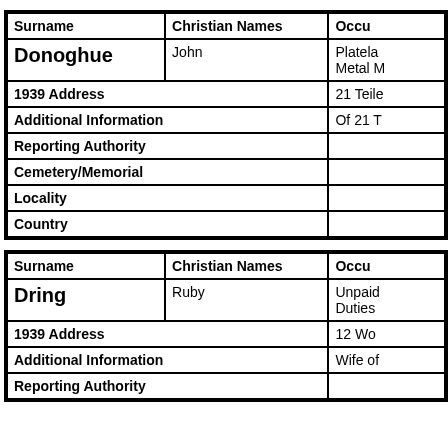| Surname | Christian Names | Occu[pation] |
| --- | --- | --- |
| Donoghue | John | Platela[yer] / Metal [Worker] |
| 1939 Address |  | 21 Teil[...] |
| Additional Information |  | Of 21 T[...] |
| Reporting Authority |  |  |
| Cemetery/Memorial |  |  |
| Locality |  |  |
| Country |  |  |
| Surname | Christian Names | Occu[pation] |
| --- | --- | --- |
| Dring | Ruby | Unpaid [...] Duties |
| 1939 Address |  | 12 Wo[...] |
| Additional Information |  | Wife of[...] |
| Reporting Authority |  |  |